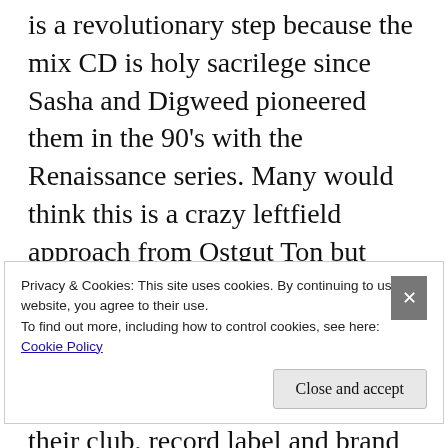is a revolutionary step because the mix CD is holy sacrilege since Sasha and Digweed pioneered them in the 90's with the Renaissance series. Many would think this is a crazy leftfield approach from Ostgut Ton but after their superb Ryan Elliot Panorama CD they have taken the forefront in digital music realising the free download is a gateway to their club, record label and brand which is well worth the free WAV format download.
Privacy & Cookies: This site uses cookies. By continuing to use this website, you agree to their use.
To find out more, including how to control cookies, see here:
Cookie Policy
Close and accept